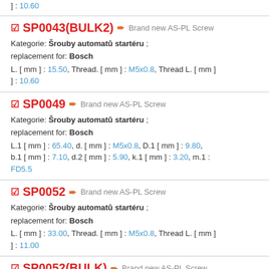] : 10.60
SP0043(BULK2) Brand new AS-PL Screw
Kategorie: Šrouby automatů startéru ;
replacement for: Bosch
L. [ mm ] : 15.50, Thread. [ mm ] : M5x0.8, Thread L. [ mm ] : 10.60
SP0049 Brand new AS-PL Screw
Kategorie: Šrouby automatů startéru ;
replacement for: Bosch
L.1 [ mm ] : 65.40, d. [ mm ] : M5x0.8, D.1 [ mm ] : 9.80, b.1 [ mm ] : 7.10, d.2 [ mm ] : 5.90, k.1 [ mm ] : 3.20, m.1 : FD5.5
SP0052 Brand new AS-PL Screw
Kategorie: Šrouby automatů startéru ;
replacement for: Bosch
L. [ mm ] : 33.00, Thread. [ mm ] : M5x0.8, Thread L. [ mm ] : 11.00
SP0052(BULK) Brand new AS-PL Screw
Kategorie: Šrouby automatů startéru ;
replacement for: Bosch